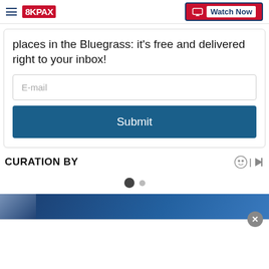8KPAX | Watch Now
places in the Bluegrass: it's free and delivered right to your inbox!
E-mail
Submit
CURATION BY
[Figure (other): Carousel navigation dots: one filled dark circle and one smaller grey circle]
[Figure (photo): Partial blue/navy image strip at bottom of page, partially obscured by ad overlay]